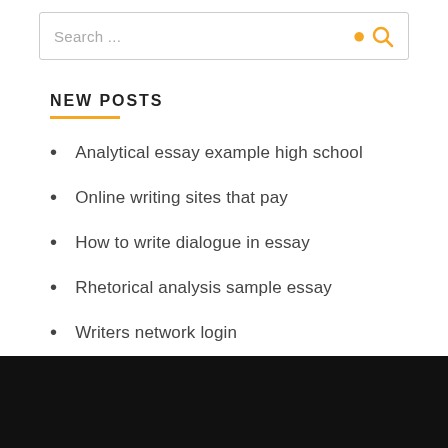[Figure (screenshot): Search bar with placeholder text 'Search ...' and a gold/yellow search icon on the right]
NEW POSTS
Analytical essay example high school
Online writing sites that pay
How to write dialogue in essay
Rhetorical analysis sample essay
Writers network login